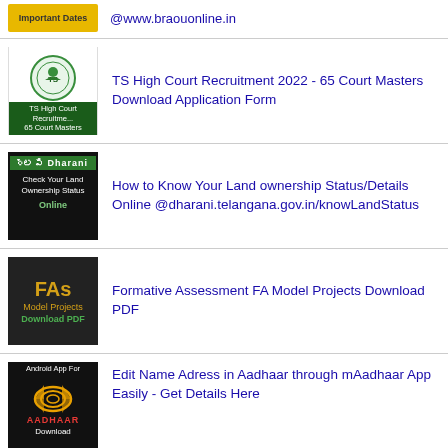@www.braouonline.in
[Figure (screenshot): TS High Court Recruitment thumbnail with state emblem]
TS High Court Recruitment 2022 - 65 Court Masters Download Application Form
[Figure (screenshot): Dharani land ownership status check thumbnail]
How to Know Your Land ownership Status/Details Online @dharani.telangana.gov.in/knowLandStatus
[Figure (screenshot): FAs Model Projects Download PDF thumbnail]
Formative Assessment FA Model Projects Download PDF
[Figure (screenshot): Aadhaar Android app download thumbnail]
Edit Name Adress in Aadhaar through mAadhaar App Easily - Get Details Here
RECENT
Thalimattu ELN Baseline Test Question Papers Download PDF